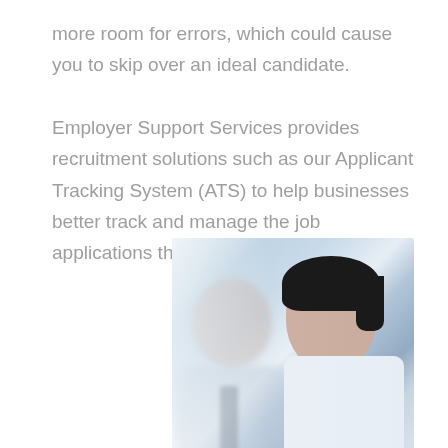more room for errors, which could cause you to skip over an ideal candidate.

Employer Support Services provides recruitment solutions such as our Applicant Tracking System (ATS) to help businesses better track and manage the job applications that are coming in.
[Figure (photo): Two office professionals (a woman with dark hair in the foreground and a man blurred in the background) looking downward, likely reviewing documents or a screen.]